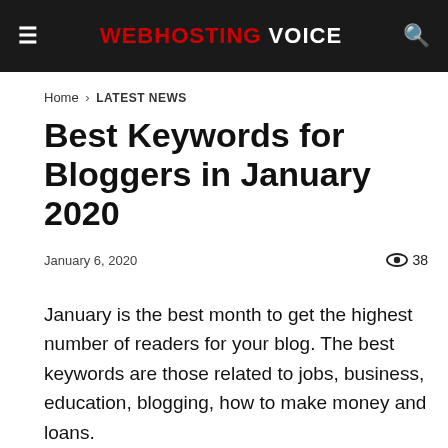WEBHOSTING VOICE
Home › LATEST NEWS
Best Keywords for Bloggers in January 2020
January 6, 2020   👁 38
January is the best month to get the highest number of readers for your blog. The best keywords are those related to jobs, business, education, blogging, how to make money and loans.